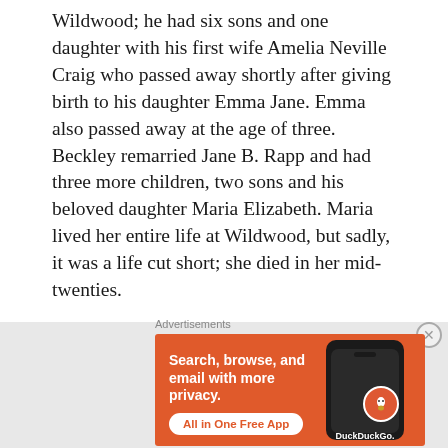Wildwood; he had six sons and one daughter with his first wife Amelia Neville Craig who passed away shortly after giving birth to his daughter Emma Jane. Emma also passed away at the age of three. Beckley remarried Jane B. Rapp and had three more children, two sons and his beloved daughter Maria Elizabeth. Maria lived her entire life at Wildwood, but sadly, it was a life cut short; she died in her mid-twenties.
Advertisements
[Figure (other): DuckDuckGo advertisement banner with orange background. Text reads 'Search, browse, and email with more privacy. All in One Free App' with a DuckDuckGo logo and phone graphic.]